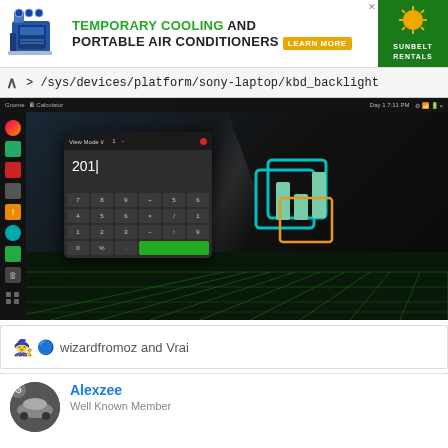[Figure (screenshot): Advertisement banner for Temporary Cooling and Portable Air Conditioners with Sunbelt Rentals logo]
> /sys/devices/platform/sony-laptop/kbd_backlight
[Figure (screenshot): Linux desktop screenshot showing a calculator application window with value 201 on a dark tron-themed desktop with sidebar icons]
wizardfromoz and Vrai
Alexzee
Well Known Member